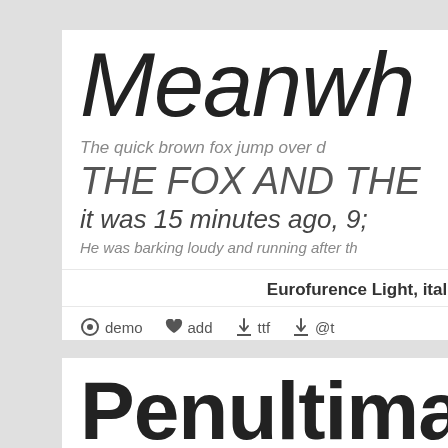[Figure (illustration): Font preview card for Eurofurence Light Italic. Shows large italic text 'Meanwh...' followed by specimen lines at various sizes: 'The quick brown fox jump over d', 'THE FOX AND THE', 'it was 15 minutes ago, 9:', 'He was barking loudy and running after th'. Label reads 'Eurofurence Light, ital'. Action bar shows icons for demo, add, ttf, @t]
[Figure (illustration): Font preview card for Penultima. Shows large rounded sans text 'Penultima' followed by specimen lines: 'The spirit is willing but the fles', 'SCHANDEDNFRE', '3964 Elm Street and 137', 'The left hand does not know what the right']